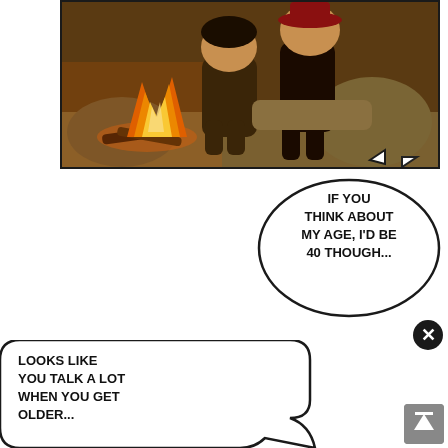[Figure (illustration): Anime screenshot showing two characters sitting by a campfire in a dimly lit cave or stone setting. The fire glows orange and yellow on the left side. The characters appear to be sitting on rocks.]
IF YOU THINK ABOUT MY AGE, I'D BE 40 THOUGH...
LOOKS LIKE YOU TALK A LOT WHEN YOU GET OLDER...